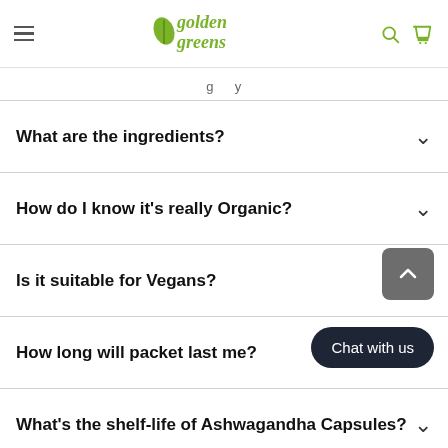golden greens
...g...y...
What are the ingredients?
How do I know it's really Organic?
Is it suitable for Vegans?
How long will packet last me?
What's the shelf-life of Ashwagandha Capsules?
When will I receive my order?